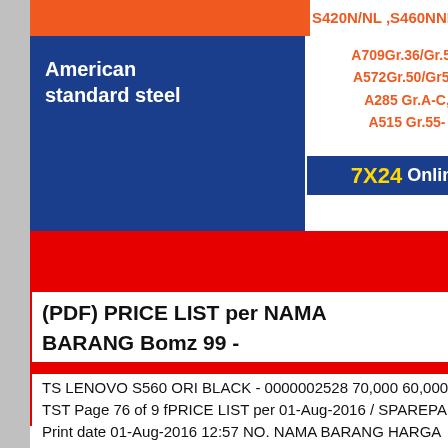[Figure (screenshot): Orange colored cell in a table row]
S420N/NL ,S460NNL
American standard steel
A709Gr.36/Gr.50, A572Gr.50/Gr55, A285 Gr.A-C, A515 Gr.55-
7X24 Online
[Figure (photo): Customer service representative wearing a headset, smiling]
pay attention to
Hello,may I help you?
Get Latest Price
(PDF) PRICE LIST per NAMA BARANG Bomz 99 -
TS LENOVO S560 ORI BLACK - 0000002528 70,000 60,000 TST Page 76 of 9 fPRICE LIST per 01-Aug-2016 / SPAREPART Print date 01-Aug-2016 12:57 NO. NAMA BARANG HARGA BRG-2 10PCS MGMN300-M NC3020 NC3030